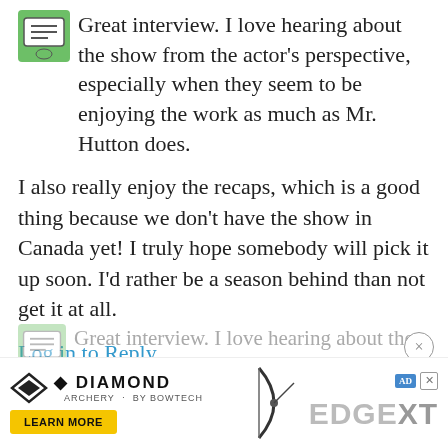Great interview. I love hearing about the show from the actor's perspective, especially when they seem to be enjoying the work as much as Mr. Hutton does.
I also really enjoy the recaps, which is a good thing because we don't have the show in Canada yet! I truly hope somebody will pick it up soon. I'd rather be a season behind than not get it at all.
Log in to Reply
Featherlite February 23, 2009
[Figure (other): Ghost/faded repeat of first comment text overlaid by ad banner containing Diamond Archery and EdgeXT advertisement with close button]